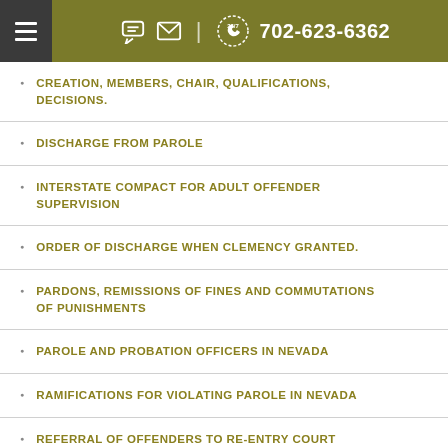702-623-6362
CREATION, MEMBERS, CHAIR, QUALIFICATIONS, DECISIONS.
DISCHARGE FROM PAROLE
INTERSTATE COMPACT FOR ADULT OFFENDER SUPERVISION
ORDER OF DISCHARGE WHEN CLEMENCY GRANTED.
PARDONS, REMISSIONS OF FINES AND COMMUTATIONS OF PUNISHMENTS
PAROLE AND PROBATION OFFICERS IN NEVADA
RAMIFICATIONS FOR VIOLATING PAROLE IN NEVADA
REFERRAL OF OFFENDERS TO RE-ENTRY COURT